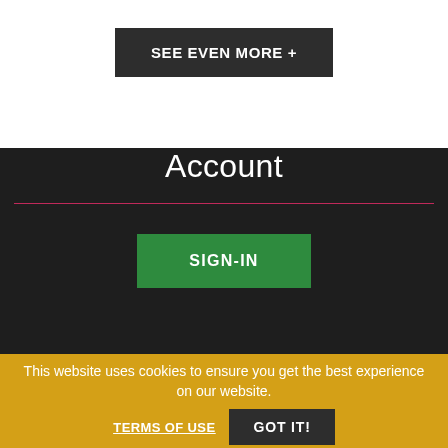SEE EVEN MORE +
Account
SIGN-IN
This website uses cookies to ensure you get the best experience on our website.
TERMS OF USE
GOT IT!